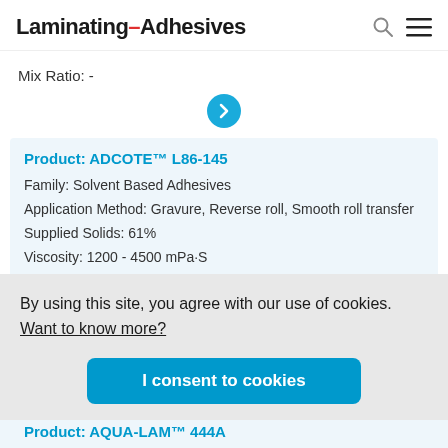Laminating Adhesives
Mix Ratio: -
Product: ADCOTE™ L86-145
Family: Solvent Based Adhesives
Application Method: Gravure, Reverse roll, Smooth roll transfer
Supplied Solids: 61%
Viscosity: 1200 - 4500 mPa·S
By using this site, you agree with our use of cookies. Want to know more?
I consent to cookies
Product: AQUA-LAM™ 444A